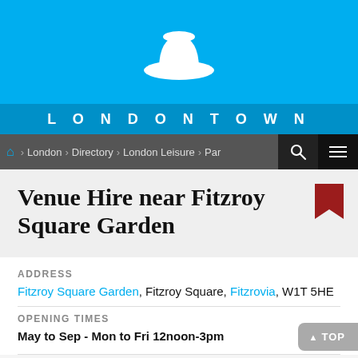[Figure (logo): Londontown white bowler hat logo on blue background with LONDONTOWN text]
LONDONTOWN
London > Directory > London Leisure > Parks & Gardens
Venue Hire near Fitzroy Square Garden
ADDRESS
Fitzroy Square Garden, Fitzroy Square, Fitzrovia, W1T 5HE
OPENING TIMES
May to Sep - Mon to Fri 12noon-3pm